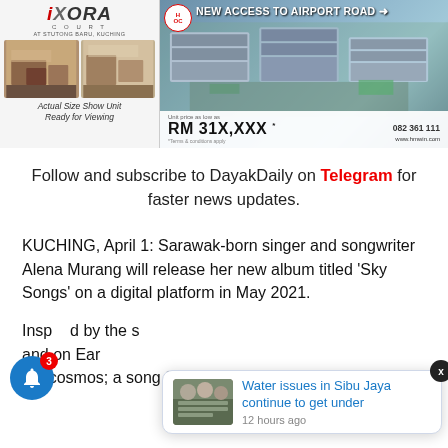[Figure (illustration): Advertisement banner split into two parts: left side shows iXORA Court apartment ad with logo, room photos, and italic caption 'Actual Size Show Unit Ready for Viewing'; right side shows aerial view of apartment complex with text 'NEW ACCESS TO AIRPORT ROAD' and price 'RM 31X,XXX']
Follow and subscribe to DayakDaily on Telegram for faster news updates.
KUCHING, April 1: Sarawak-born singer and songwriter Alena Murang will release her new album titled 'Sky Songs' on a digital platform in May 2021.
Inspired by the s... and on Ear... the cosmos; a song for the warriors that watch the mist
[Figure (screenshot): Notification popup showing: thumbnail image of people at a meeting table, headline 'Water issues in Sibu Jaya continue to get under', timestamp '12 hours ago', with a close X button and a blue bell notification button with badge showing 3]